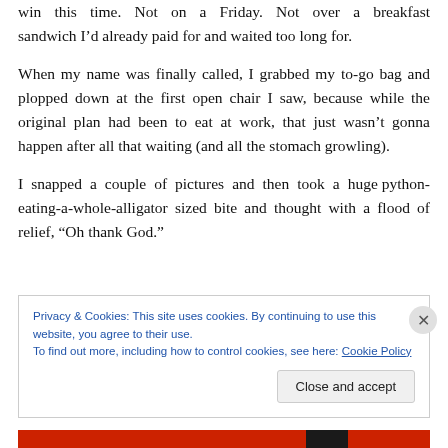win this time. Not on a Friday. Not over a breakfast sandwich I'd already paid for and waited too long for.
When my name was finally called, I grabbed my to-go bag and plopped down at the first open chair I saw, because while the original plan had been to eat at work, that just wasn't gonna happen after all that waiting (and all the stomach growling).
I snapped a couple of pictures and then took a huge python-eating-a-whole-alligator sized bite and thought with a flood of relief, “Oh thank God.”
Privacy & Cookies: This site uses cookies. By continuing to use this website, you agree to their use.
To find out more, including how to control cookies, see here: Cookie Policy